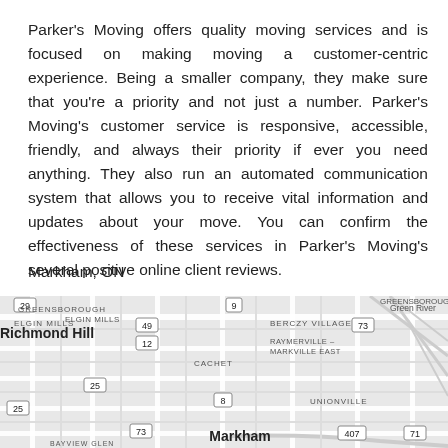Parker's Moving offers quality moving services and is focused on making moving a customer-centric experience. Being a smaller company, they make sure that you're a priority and not just a number. Parker's Moving's customer service is responsive, accessible, friendly, and always their priority if ever you need anything. They also run an automated communication system that allows you to receive vital information and updates about your move. You can confirm the effectiveness of these services in Parker's Moving's several positive online client reviews.
Markham, ON
[Figure (map): Street map of Markham, ON area showing Richmond Hill, Berczy Village, Raymerville-Markville East, Cachet, Unionville, Markham, Elgin Mills, Greensborough, Green River, and Bayview Glen with road numbers 29, 49, 12, 9, 73, 25, 8, 407, 71]